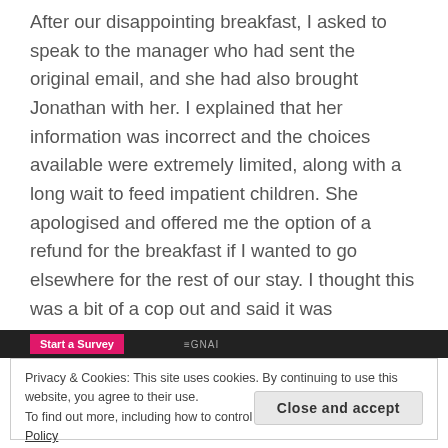After our disappointing breakfast, I asked to speak to the manager who had sent the original email, and she had also brought Jonathan with her. I explained that her information was incorrect and the choices available were extremely limited, along with a long wait to feed impatient children. She apologised and offered me the option of a refund for the breakfast if I wanted to go elsewhere for the rest of our stay. I thought this was a bit of a cop out and said it was inconvenient for us to do that with the children on a cold winter's morning, what could they offer?
Privacy & Cookies: This site uses cookies. By continuing to use this website, you agree to their use.
To find out more, including how to control cookies, see here: Cookie Policy